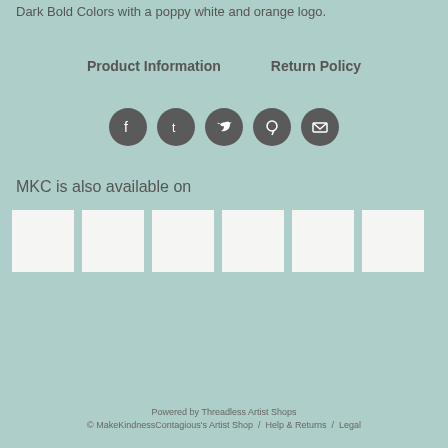Dark Bold Colors with a poppy white and orange logo.
Product Information   Return Policy
[Figure (infographic): Row of five social media icons (Facebook, Tumblr, Twitter, Pinterest, Email) as white icons on dark circular backgrounds]
MKC is also available on
[Figure (other): Six white/light placeholder thumbnail squares representing marketplace listings]
Powered by Threadless Artist Shops
© MakeKindnessContagious's Artist Shop / Help & Returns / Legal